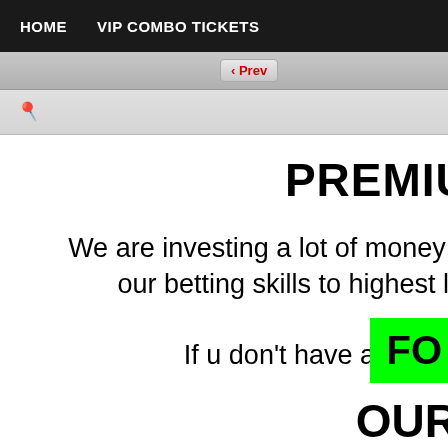HOME   VIP COMBO TICKETS
‹ Prev
PREMIUM TIC
We are investing a lot of money and tim our betting skills to highest leve
If u don't have any d
FO
OUR